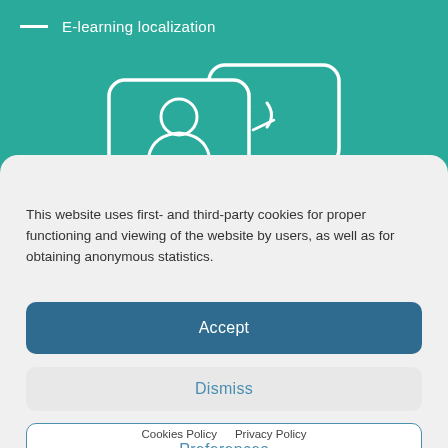E-learning localization
[Figure (illustration): Two overlapping rounded rectangle device/screen outlines with icons (person silhouette and code/figure symbol) drawn in white on teal background]
This website uses first- and third-party cookies for proper functioning and viewing of the website by users, as well as for obtaining anonymous statistics.
Accept
Dismiss
Preferences
Cookies Policy  Privacy Policy